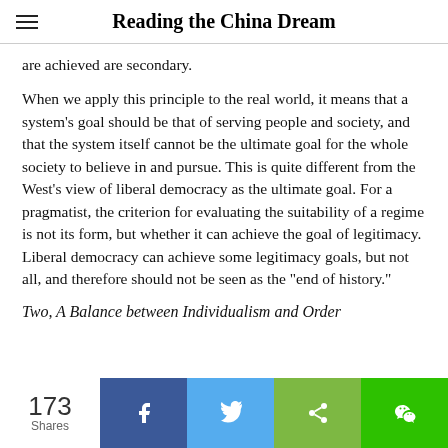Reading the China Dream
are achieved are secondary.
When we apply this principle to the real world, it means that a system's goal should be that of serving people and society, and that the system itself cannot be the ultimate goal for the whole society to believe in and pursue. This is quite different from the West's view of liberal democracy as the ultimate goal. For a pragmatist, the criterion for evaluating the suitability of a regime is not its form, but whether it can achieve the goal of legitimacy. Liberal democracy can achieve some legitimacy goals, but not all, and therefore should not be seen as the "end of history."
Two, A Balance between Individualism and Order
173 Shares